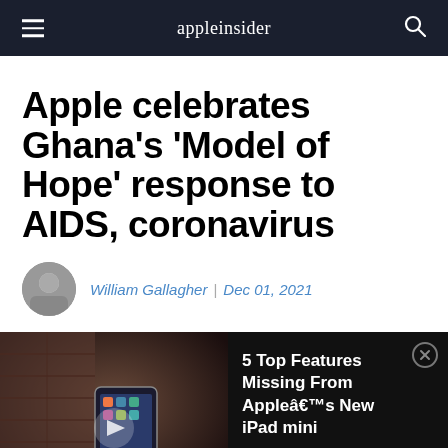appleinsider
Apple celebrates Ghana's 'Model of Hope' response to AIDS, coronavirus
William Gallagher | Dec 01, 2021
[Figure (photo): Video thumbnail showing an iPad mini on a stand, with a play button overlay]
5 Top Features Missing From Appleâ€™s New iPad mini